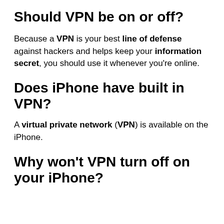Should VPN be on or off?
Because a VPN is your best line of defense against hackers and helps keep your information secret, you should use it whenever you’re online.
Does iPhone have built in VPN?
A virtual private network (VPN) is available on the iPhone.
Why won’t VPN turn off on your iPhone?